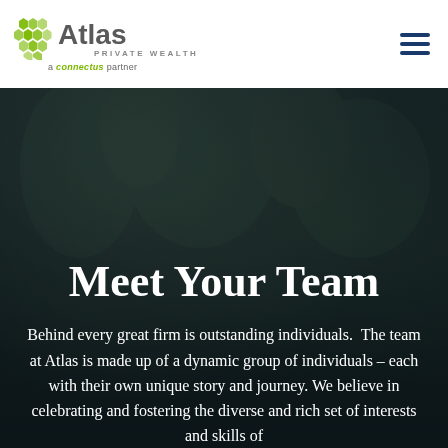[Figure (logo): Atlas Private Wealth logo with green hexagonal icon, 'Atlas' in bold gray, 'PRIVATE WEALTH' subtitle, and 'a connectus partner' tagline]
[Figure (other): Hamburger menu icon with three horizontal navy blue bars]
[Figure (photo): Dark background photo, appears to be a dark forest or outdoor scene with very low lighting]
Meet Your Team
Behind every great firm is outstanding individuals.  The team at Atlas is made up of a dynamic group of individuals – each with their own unique story and journey. We believe in celebrating and fostering the diverse and rich set of interests and skills of